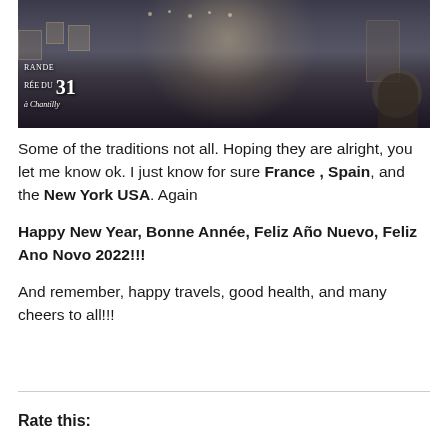[Figure (photo): A photograph of what appears to be a chateau or historic French building at night with decorative lighting, overlay text reads 'GRANDE 31 RÉE DU à Chantilly']
Some of the traditions not all. Hoping they are alright, you let me know ok. I just know for sure France , Spain, and the New York USA. Again
Happy New Year, Bonne Année, Feliz Año Nuevo, Feliz Ano Novo 2022!!!
And remember, happy travels, good health, and many cheers to all!!!
Rate this: